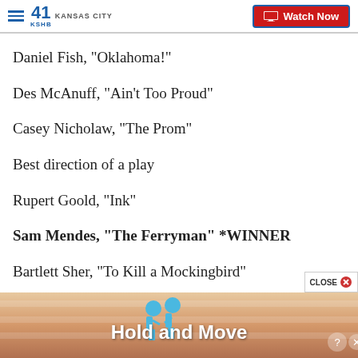41 KSHB KANSAS CITY — Watch Now
Daniel Fish, "Oklahoma!"
Des McAnuff, "Ain't Too Proud"
Casey Nicholaw, "The Prom"
Best direction of a play
Rupert Goold, "Ink"
Sam Mendes, "The Ferryman" *WINNER
Bartlett Sher, "To Kill a Mockingbird"
[Figure (screenshot): Advertisement banner at bottom showing 'Hold and Move' with animated figures and a CLOSE button overlay]